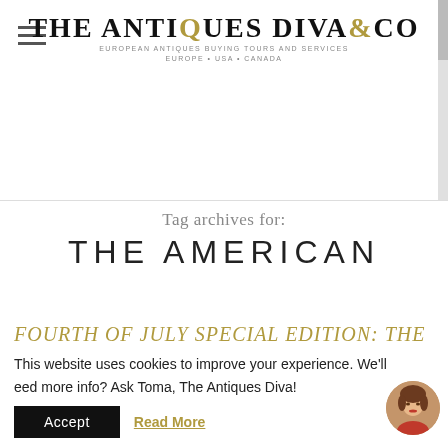THE ANTIQUES DIVA & CO
Tag archives for:
THE AMERICAN
FOURTH OF JULY SPECIAL EDITION: THE
This website uses cookies to improve your experience. We'll
eed more info? Ask Toma, The Antiques Diva! ...yo ...h.
Accept   Read More